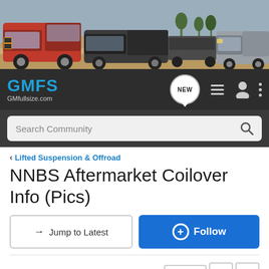[Figure (photo): Banner image showing three GM full-size trucks in an outdoor desert/field setting. A red lifted truck on the left, a dark truck towing a trailer in the middle, and a grey truck on the right.]
GMFS GMfullsize.com
Search Community
< Lifted Suspension & Offroad
NNBS Aftermarket Coilover Info (Pics)
→ Jump to Latest
+ Follow
1 - 20 of 59 Posts
1 of 3